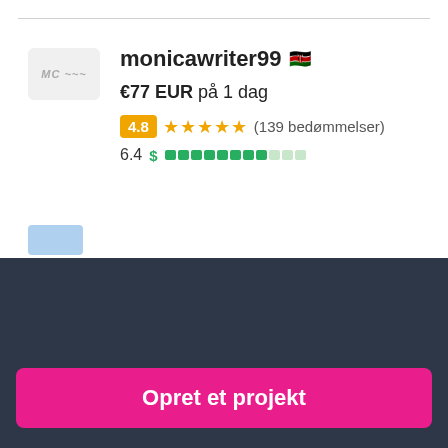monicawriter99 🇰🇪
€77 EUR på 1 dag
4.8 ★★★★★ (139 bedømmelser)
6.4 $ ████████░░░
Har du brug for at ansætte en freelancer til et job?
Opret et projekt